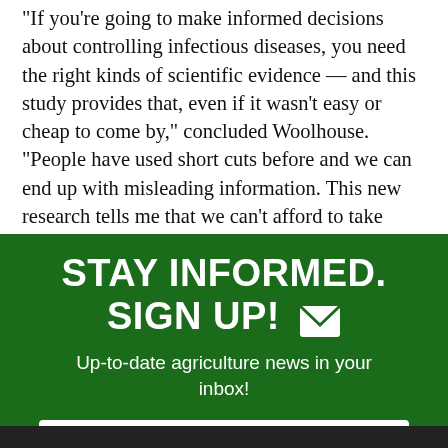“If you’re going to make informed decisions about controlling infectious diseases, you need the right kinds of scientific evidence — and this study provides that, even if it wasn’t easy or cheap to come by,” concluded Woolhouse. “People have used short cuts before and we can end up with misleading information. This new research tells me that we can’t afford to take those short cuts. This is the kind of work we need to be doing to learn how to manage infectious diseases in the future.”
[Figure (infographic): Green call-to-action box: STAY INFORMED. SIGN UP! with envelope icon. Subtitle: Up-to-date agriculture news in your inbox! Email input field placeholder: Enter Your Email Address. Dark submit bar at bottom.]